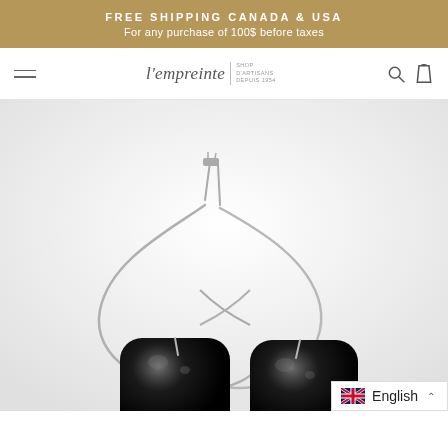FREE SHIPPING CANADA & USA
For any purchase of 100$ before taxes
[Figure (logo): L'empreinte boutique logo with hamburger menu, search icon, and bag icon in navigation bar]
[Figure (photo): Two black ceramic bead hoop earrings with silver wire, crossed over each other on a white background]
English